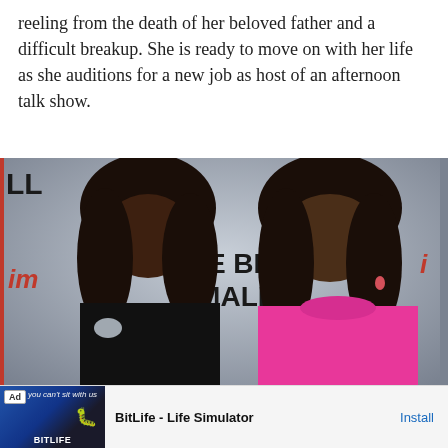reeling from the death of her beloved father and a difficult breakup. She is ready to move on with her life as she auditions for a new job as host of an afternoon talk show.
[Figure (photo): Two women posing at a red carpet event in front of a backdrop with partial text reading 'LE BLA FEMALE'. The woman on the left wears a black outfit and is smiling. The woman on the right wears a pink/hot pink turtleneck top.]
[Figure (screenshot): Advertisement banner for 'BitLife - Life Simulator' app with an Ad label, a game screenshot thumbnail on the left, and an Install button on the right.]